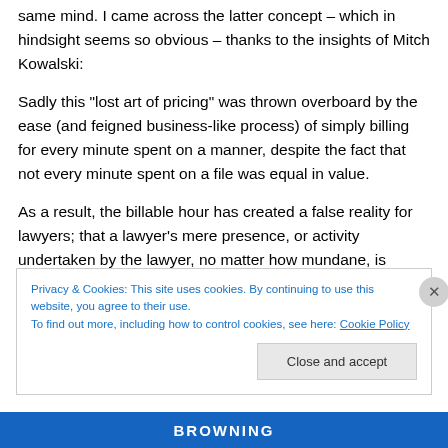same mind. I came across the latter concept – which in hindsight seems so obvious – thanks to the insights of Mitch Kowalski:
Sadly this “lost art of pricing” was thrown overboard by the ease (and feigned business-like process) of simply billing for every minute spent on a manner, despite the fact that not every minute spent on a file was equal in value.
As a result, the billable hour has created a false reality for lawyers; that a lawyer’s mere presence, or activity undertaken by the lawyer, no matter how mundane, is
Privacy & Cookies: This site uses cookies. By continuing to use this website, you agree to their use.
To find out more, including how to control cookies, see here: Cookie Policy
Close and accept